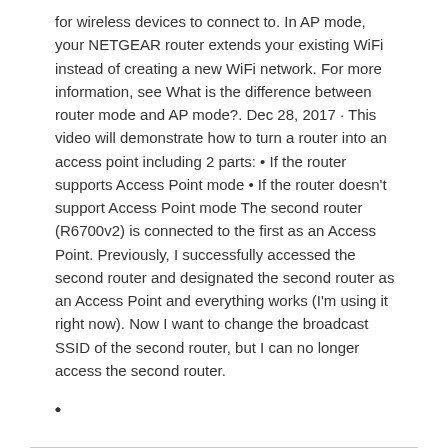for wireless devices to connect to. In AP mode, your NETGEAR router extends your existing WiFi instead of creating a new WiFi network. For more information, see What is the difference between router mode and AP mode?. Dec 28, 2017 · This video will demonstrate how to turn a router into an access point including 2 parts: • If the router supports Access Point mode • If the router doesn't support Access Point mode The second router (R6700v2) is connected to the first as an Access Point. Previously, I successfully accessed the second router and designated the second router as an Access Point and everything works (I'm using it right now). Now I want to change the broadcast SSID of the second router, but I can no longer access the second router.